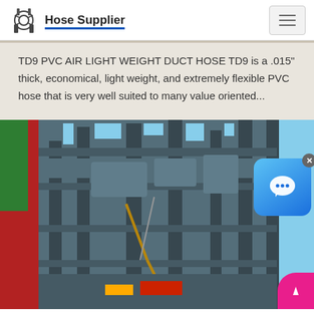Hose Supplier
TD9 PVC AIR LIGHT WEIGHT DUCT HOSE TD9 is a .015" thick, economical, light weight, and extremely flexible PVC hose that is very well suited to many value oriented...
[Figure (photo): Industrial crane or heavy machinery structure at a construction or port site, with red and green fabric visible on the left side and blue sky in the background.]